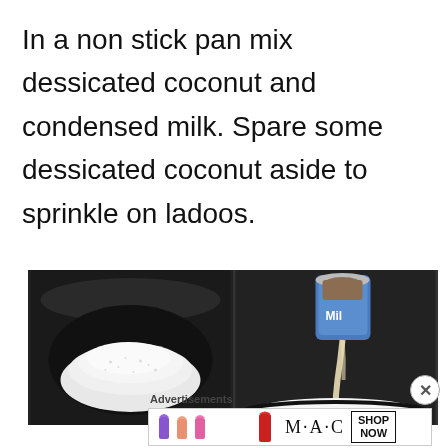In a non stick pan mix dessicated coconut and condensed milk. Spare some dessicated coconut aside to sprinkle on ladoos.
[Figure (photo): Two side-by-side photos: left shows dessicated coconut in a black non-stick pan; right shows condensed milk being poured from a can into a pan with coconut.]
Advertisements
[Figure (photo): MAC cosmetics advertisement banner showing lipsticks, MAC logo, and SHOP NOW button.]